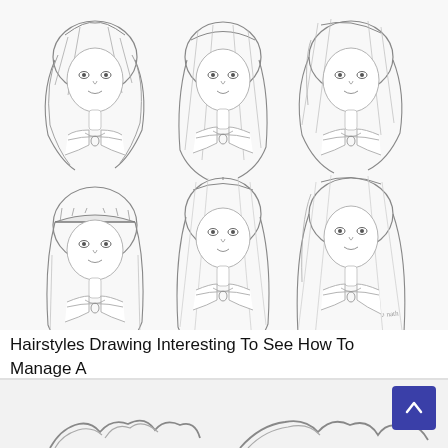[Figure (illustration): Six pencil sketch drawings of a girl's face and upper body arranged in a 3x2 grid, each showing different hairstyles: top row shows medium layered hair, straight long hair, and side-swept layered hair; bottom row shows straight-across bangs with long straight hair, long straight hair with middle part, and very long straight hair with side part. All figures wear a strapless top and a pendant necklace. Artist signature visible in bottom right corner.]
Hairstyles Drawing Interesting To See How To Manage A
[Figure (illustration): Partial view of another illustration showing curly/wavy hair drawing sketches, partially visible at bottom of page.]